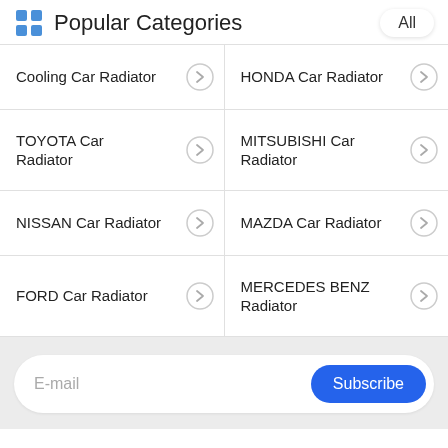Popular Categories
Cooling Car Radiator
HONDA Car Radiator
TOYOTA Car Radiator
MITSUBISHI Car Radiator
NISSAN Car Radiator
MAZDA Car Radiator
FORD Car Radiator
MERCEDES BENZ Radiator
E-mail
Subscribe